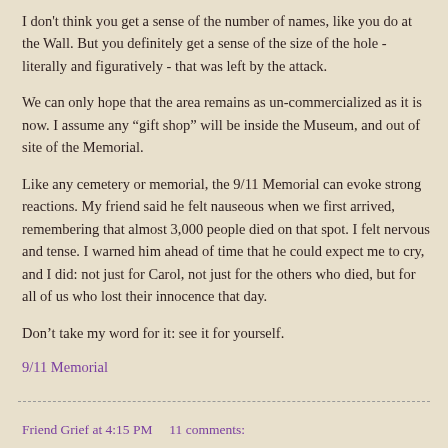I don't think you get a sense of the number of names, like you do at the Wall. But you definitely get a sense of the size of the hole - literally and figuratively - that was left by the attack.
We can only hope that the area remains as un-commercialized as it is now. I assume any “gift shop” will be inside the Museum, and out of site of the Memorial.
Like any cemetery or memorial, the 9/11 Memorial can evoke strong reactions. My friend said he felt nauseous when we first arrived, remembering that almost 3,000 people died on that spot. I felt nervous and tense. I warned him ahead of time that he could expect me to cry, and I did: not just for Carol, not just for the others who died, but for all of us who lost their innocence that day.
Don’t take my word for it: see it for yourself.
9/11 Memorial
Friend Grief at 4:15 PM    11 comments: